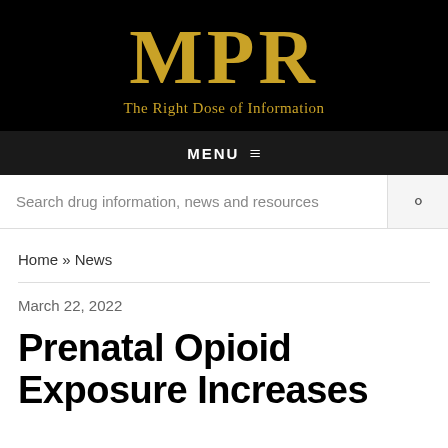MPR — The Right Dose of Information
MENU
Search drug information, news and resources
Home » News
March 22, 2022
Prenatal Opioid Exposure Increases